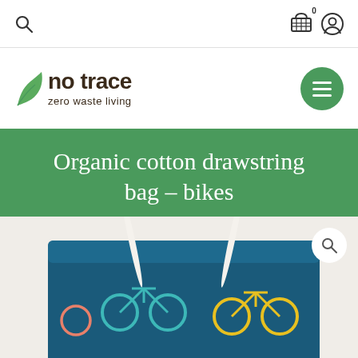Navigation bar with search icon, cart (0), and account icon
[Figure (logo): No trace zero waste living logo with green leaf icon, brown text 'no trace' and subtitle 'zero waste living', hamburger menu button on right]
Organic cotton drawstring bag – bikes
[Figure (photo): Close-up photo of a teal/navy drawstring bag with colorful bicycle pattern print, held with white drawstrings visible]